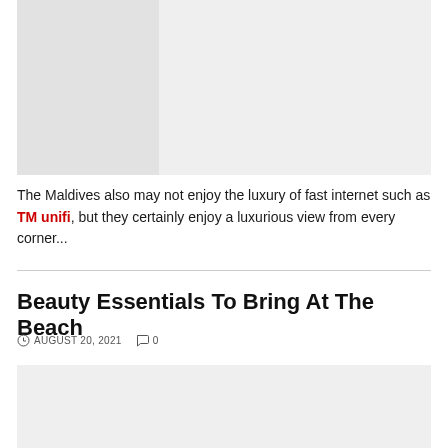[Figure (photo): Placeholder image area with light gray background, partially darker gray on the left side]
The Maldives also may not enjoy the luxury of fast internet such as TM unifi, but they certainly enjoy a luxurious view from every corner...
Beauty Essentials To Bring At The Beach
AUGUST 20, 2021  0
[Figure (photo): Placeholder image area with light gray background at the bottom of the page]